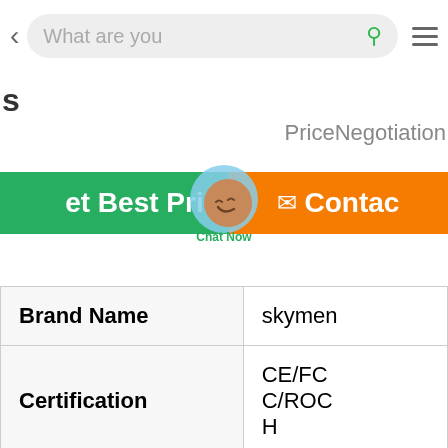[Figure (screenshot): Mobile app top navigation bar with back arrow, search field showing 'What are you', search icon, and hamburger menu icon]
s
Price​Negotiation
[Figure (screenshot): Green rounded button 'Get Best Price', chat bubble overlay with 'Chat Now', and orange 'Contact' button]
| Brand Name | skymen |
| Certification | CE/FCC/ROCH |